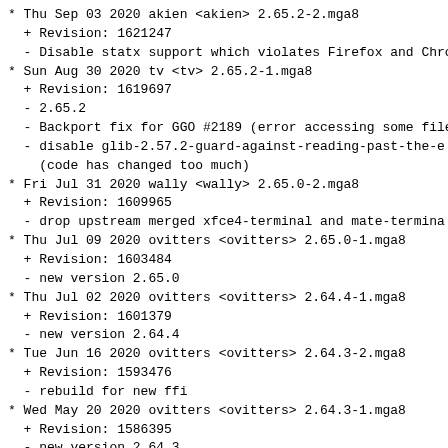* Thu Sep 03 2020 akien <akien> 2.65.2-2.mga8
  + Revision: 1621247
  - Disable statx support which violates Firefox and Chro
* Sun Aug 30 2020 tv <tv> 2.65.2-1.mga8
  + Revision: 1619697
  - 2.65.2
  - Backport fix for GGO #2189 (error accessing some file
  - disable glib-2.57.2-guard-against-reading-past-the-e
    (code has changed too much)
* Fri Jul 31 2020 wally <wally> 2.65.0-2.mga8
  + Revision: 1609965
  - drop upstream merged xfce4-terminal and mate-termina
* Thu Jul 09 2020 ovitters <ovitters> 2.65.0-1.mga8
  + Revision: 1603484
  - new version 2.65.0
* Thu Jul 02 2020 ovitters <ovitters> 2.64.4-1.mga8
  + Revision: 1601379
  - new version 2.64.4
* Tue Jun 16 2020 ovitters <ovitters> 2.64.3-2.mga8
  + Revision: 1593476
  - rebuild for new ffi
* Wed May 20 2020 ovitters <ovitters> 2.64.3-1.mga8
  + Revision: 1586395
  - new version 2.64.3
* Thu Apr 09 2020 ovitters <ovitters> 2.64.2-1.mga8
  + Revision: 1565835
  - new version 2.64.2
* Wed Mar 11 2020 ovitters <ovitters> 2.64.1-1.mga8
  + Revision: 1555627
  - re-enable installed tests